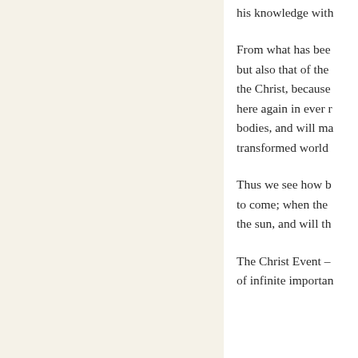his knowledge with
From what has been but also that of the the Christ, because here again in ever r bodies, and will ma transformed world
Thus we see how b to come; when the the sun, and will th
The Christ Event — of infinite importan